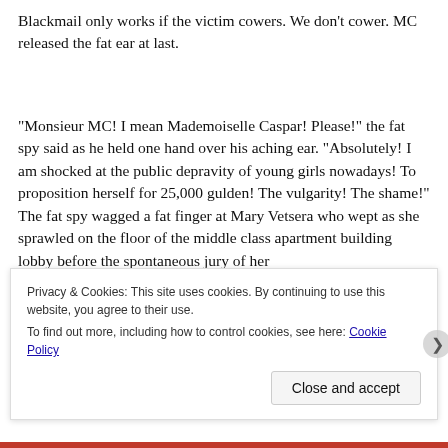Blackmail only works if the victim cowers. We don't cower. MC released the fat ear at last.
“Monsieur MC! I mean Mademoiselle Caspar! Please!” the fat spy said as he held one hand over his aching ear. “Absolutely! I am shocked at the public depravity of young girls nowadays! To proposition herself for 25,000 gulden! The vulgarity! The shame!” The fat spy wagged a fat finger at Mary Vetsera who wept as she sprawled on the floor of the middle class apartment building lobby before the spontaneous jury of her p... a...
Privacy & Cookies: This site uses cookies. By continuing to use this website, you agree to their use.
To find out more, including how to control cookies, see here: Cookie Policy